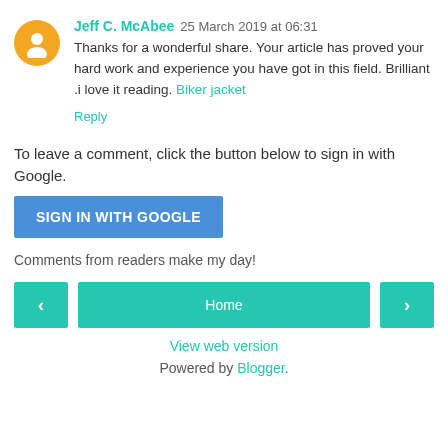Jeff C. McAbee 25 March 2019 at 06:31 — Thanks for a wonderful share. Your article has proved your hard work and experience you have got in this field. Brilliant .i love it reading. Biker jacket
Reply
To leave a comment, click the button below to sign in with Google.
SIGN IN WITH GOOGLE
Comments from readers make my day!
‹  Home  ›
View web version
Powered by Blogger.